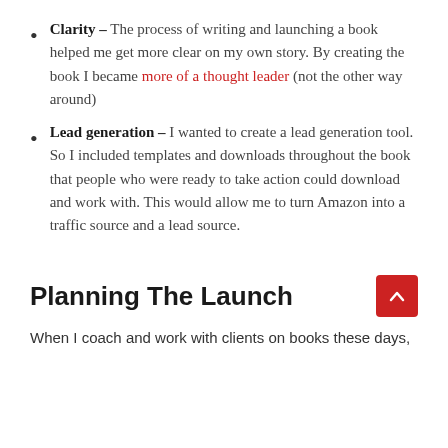Clarity – The process of writing and launching a book helped me get more clear on my own story. By creating the book I became more of a thought leader (not the other way around)
Lead generation – I wanted to create a lead generation tool. So I included templates and downloads throughout the book that people who were ready to take action could download and work with. This would allow me to turn Amazon into a traffic source and a lead source.
Planning The Launch
When I coach and work with clients on books these days,